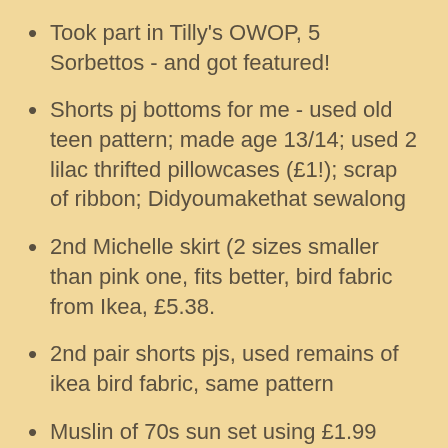Took part in Tilly's OWOP, 5 Sorbettos - and got featured!
Shorts pj bottoms for me - used old teen pattern; made age 13/14; used 2 lilac thrifted pillowcases (£1!); scrap of ribbon; Didyoumakethat sewalong
2nd Michelle skirt (2 sizes smaller than pink one, fits better, bird fabric from Ikea, £5.38.
2nd pair shorts pjs, used remains of ikea bird fabric, same pattern
Muslin of 70s sun set using £1.99 charity shop sheet
Reversible Summer bag ( a very purple person blog tutorial found through Burdastyle). Used 2 curtain samples, added zip pocket